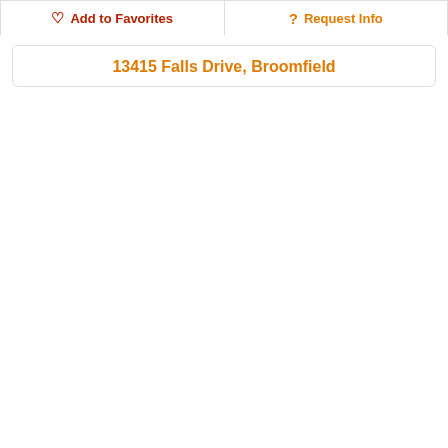Add to Favorites
Request Info
[Figure (photo): Two-story suburban house with light blue/gray siding, brick accents, front porch, two-car garage, green lawn, clear blue sky. Price badge shows $685,000.]
13415 Falls Drive, Broomfield